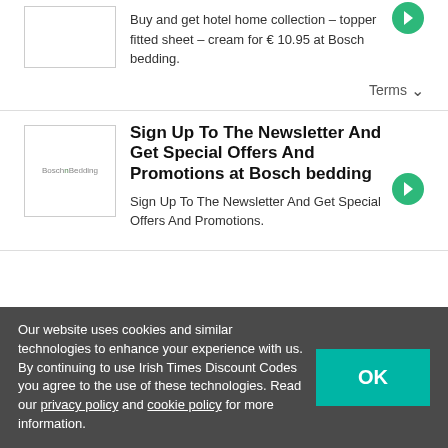Buy and get hotel home collection – topper fitted sheet – cream for € 10.95 at Bosch bedding.
Terms ∨
Sign Up To The Newsletter And Get Special Offers And Promotions at Bosch bedding
Sign Up To The Newsletter And Get Special Offers And Promotions.
Our website uses cookies and similar technologies to enhance your experience with us. By continuing to use Irish Times Discount Codes you agree to the use of these technologies. Read our privacy policy and cookie policy for more information.